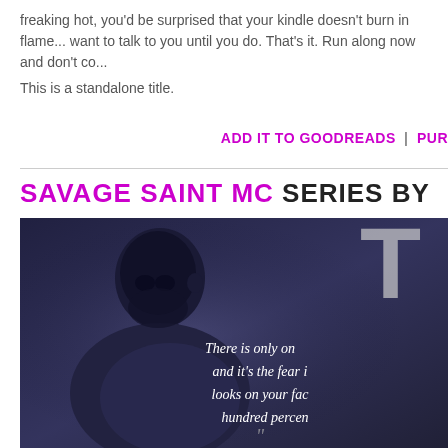freaking hot, you'd be surprised that your kindle doesn't burn in flame... want to talk to you until you do. That's it. Run along now and don't co...
This is a standalone title.
ADD IT TO GOODREADS | PUR...
SAVAGE SAINT MC SERIES BY
[Figure (photo): Book cover image showing a dark silhouette of a man in profile with text overlay reading: There is only on... and it's the fear i... looks on your fac... hundred percen...]